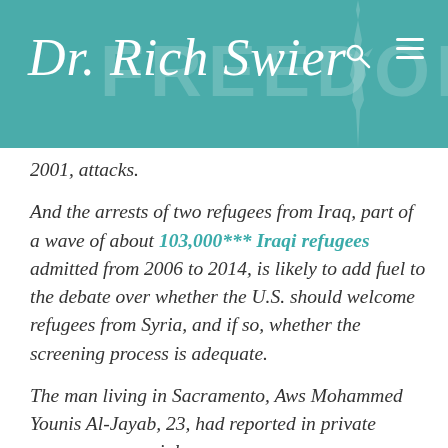Dr. Rich Swier
2001, attacks.
And the arrests of two refugees from Iraq, part of a wave of about 103,000*** Iraqi refugees admitted from 2006 to 2014, is likely to add fuel to the debate over whether the U.S. should welcome refugees from Syria, and if so, whether the screening process is adequate.
The man living in Sacramento, Aws Mohammed Younis Al-Jayab, 23, had reported in private messages on social